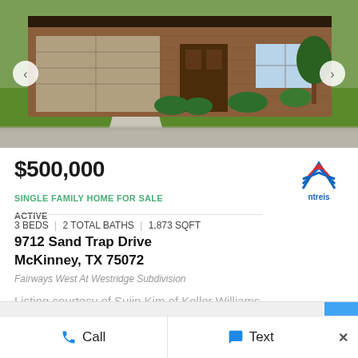[Figure (photo): Exterior front view of a single-family brick home with two-car garage, landscaped green lawn, and shrubs along the front]
$500,000
SINGLE FAMILY HOME FOR SALE
ACTIVE
3 BEDS | 2 TOTAL BATHS | 1,873 SQFT
9712 Sand Trap Drive
McKinney, TX 75072
Fairways West At Westridge Subdivision
Listing courtesy of Sujin Kim of Keller Williams Central
Call
Text